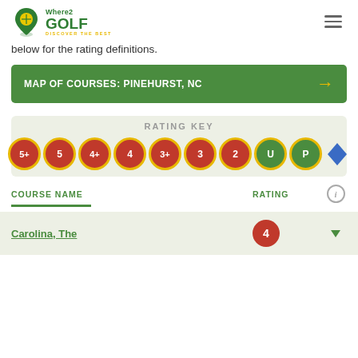Where2Golf — Discover the Best
below for the rating definitions.
MAP OF COURSES: PINEHURST, NC
[Figure (infographic): Rating key showing colored circles labeled 5+, 5, 4+, 4, 3+, 3, 2, U, P and a blue diamond symbol]
COURSE NAME    RATING
Carolina, The    4